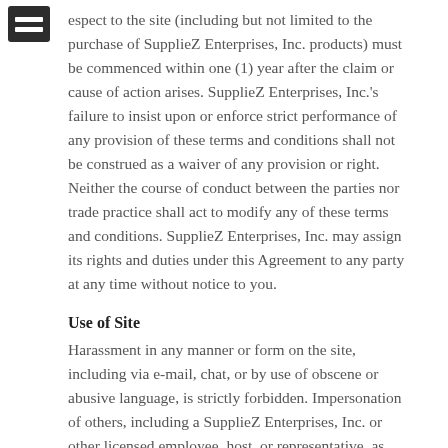espect to the site (including but not limited to the purchase of SupplieZ Enterprises, Inc. products) must be commenced within one (1) year after the claim or cause of action arises. SupplieZ Enterprises, Inc.'s failure to insist upon or enforce strict performance of any provision of these terms and conditions shall not be construed as a waiver of any provision or right. Neither the course of conduct between the parties nor trade practice shall act to modify any of these terms and conditions. SupplieZ Enterprises, Inc. may assign its rights and duties under this Agreement to any party at any time without notice to you.
Use of Site
Harassment in any manner or form on the site, including via e-mail, chat, or by use of obscene or abusive language, is strictly forbidden. Impersonation of others, including a SupplieZ Enterprises, Inc. or other licensed employee, host, or representative, as well as other members or visitors on the site is prohibited. You may not upload to, distribute, or otherwise publish through the site any content which is libelous, defamatory, obscene, threatening, invasive of privacy or